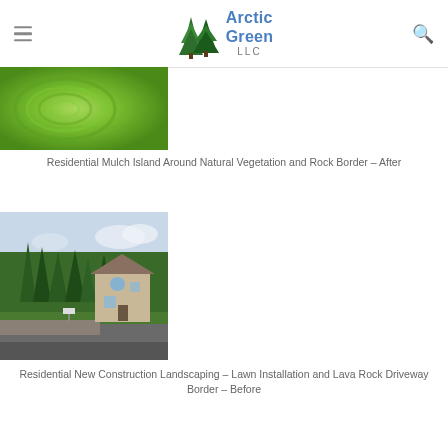Arctic Green LLC
[Figure (photo): Aerial view of residential lawn showing green grass with circular mowing patterns and mulch border]
Residential Mulch Island Around Natural Vegetation and Rock Border – After
[Figure (photo): Residential house with new construction landscaping, surrounded by tall spruce trees, gravel driveway border, before lawn installation]
Residential New Construction Landscaping – Lawn Installation and Lava Rock Driveway Border – Before